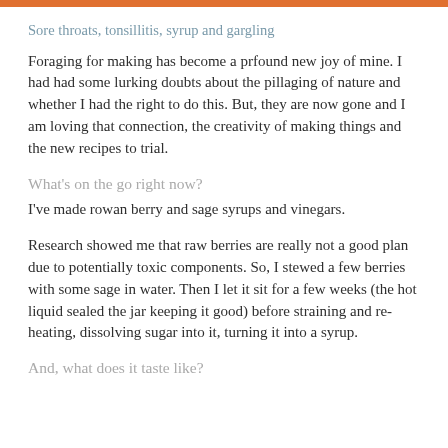Sore throats, tonsillitis, syrup and gargling
Foraging for making has become a prfound new joy of mine. I had had some lurking doubts about the pillaging of nature and whether I had the right to do this. But, they are now gone and I am loving that connection, the creativity of making things and the new recipes to trial.
What’s on the go right now?
I’ve made rowan berry and sage syrups and vinegars.
Research showed me that raw berries are really not a good plan due to potentially toxic components. So, I stewed a few berries with some sage in water. Then I let it sit for a few weeks (the hot liquid sealed the jar keeping it good) before straining and re-heating, dissolving sugar into it, turning it into a syrup.
And, what does it taste like?